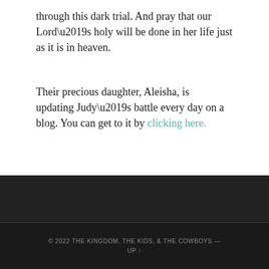through this dark trial. And pray that our Lord’s holy will be done in her life just as it is in heaven.
Their precious daughter, Aleisha, is updating Judy’s battle every day on a blog. You can get to it by clicking here.
Peace,
Allan
© 2022 THE KINGDOM, THE KIDS, & THE COWBOYS — UP ↑